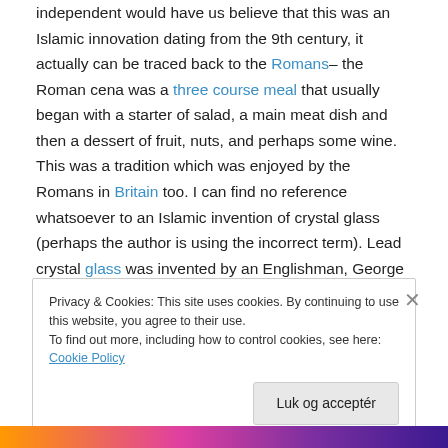independent would have us believe that this was an Islamic innovation dating from the 9th century, it actually can be traced back to the Romans– the Roman cena was a three course meal that usually began with a starter of salad, a main meat dish and then a dessert of fruit, nuts, and perhaps some wine. This was a tradition which was enjoyed by the Romans in Britain too. I can find no reference whatsoever to an Islamic invention of crystal glass (perhaps the author is using the incorrect term). Lead crystal glass was invented by an Englishman, George Ravenscroft, in 1676.
Privacy & Cookies: This site uses cookies. By continuing to use this website, you agree to their use.
To find out more, including how to control cookies, see here: Cookie Policy